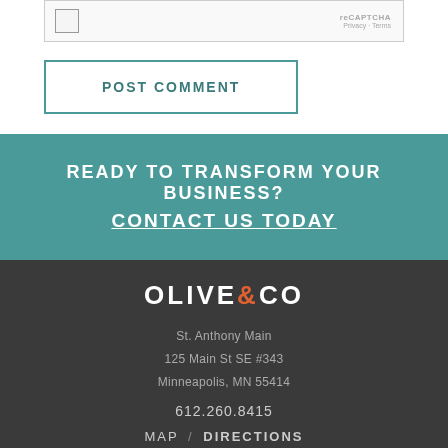[Figure (screenshot): reCAPTCHA checkbox widget with Privacy and Terms links]
POST COMMENT
READY TO TRANSFORM YOUR BUSINESS? CONTACT US TODAY
[Figure (logo): Olive & Co logo in white text with orange ampersand]
St. Anthony Main
125 Main St SE #343
Minneapolis, MN 55414
612.260.8415
MAP / DIRECTIONS